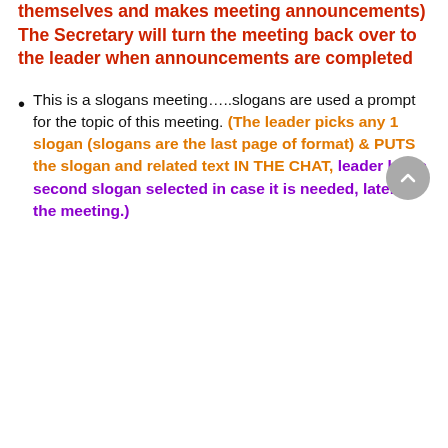themselves and makes meeting announcements) The Secretary will turn the meeting back over to the leader when announcements are completed
This is a slogans meeting…..slogans are used a prompt for the topic of this meeting. (The leader picks any 1 slogan (slogans are the last page of format) & PUTS the slogan and related text IN THE CHAT, leader has a second slogan selected in case it is needed, later in the meeting.)